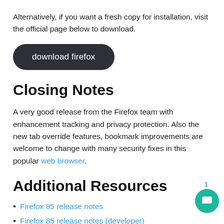Alternatively, if you want a fresh copy for installation, visit the official page below to download.
[Figure (other): Dark rounded button labeled 'download firefox']
Closing Notes
A very good release from the Firefox team with enhancement tracking and privacy protection. Also the new tab override features, bookmark improvements are welcome to change with many security fixes in this popular web browser.
Additional Resources
Firefox 85 release notes
Firefox 85 release notes (developer)
Firefox 85 enterprise release notes